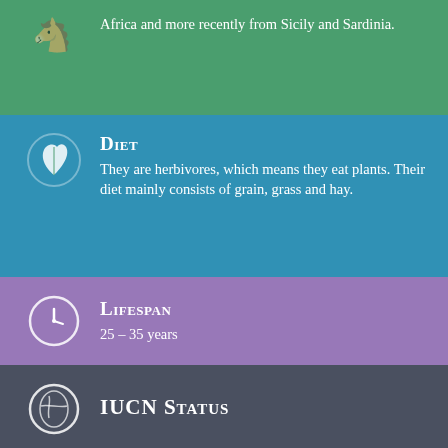Africa and more recently from Sicily and Sardinia.
Diet
They are herbivores, which means they eat plants. Their diet mainly consists of grain, grass and hay.
Lifespan
25 – 35 years
IUCN Status
Fun Facts
The breed was originally used as work-horses in the 18th century, carrying